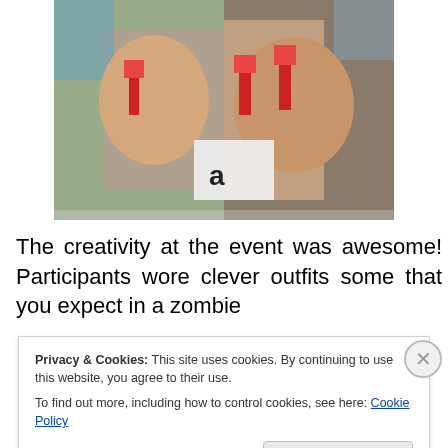[Figure (photo): Two men at an outdoor event holding red popsicles and a sign with the letter 'a', one wearing zombie makeup with fake blood]
The creativity at the event was awesome! Participants wore clever outfits some that you expect in a zombie
Privacy & Cookies: This site uses cookies. By continuing to use this website, you agree to their use.
To find out more, including how to control cookies, see here: Cookie Policy
Close and accept